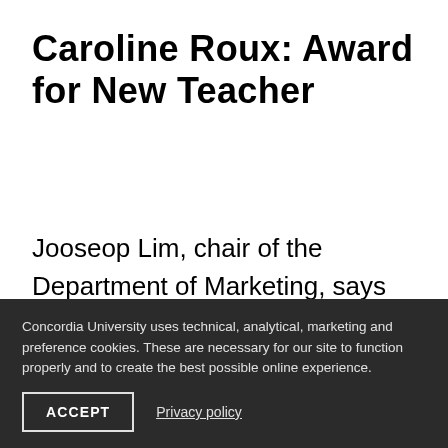Caroline Roux: Award for New Teacher
Jooseop Lim, chair of the Department of Marketing, says Roux’s office is always busy with students seeking her support. “I have always seen her quickly responding to various
Concordia University uses technical, analytical, marketing and preference cookies. These are necessary for our site to function properly and to create the best possible online experience.
ACCEPT   Privacy policy